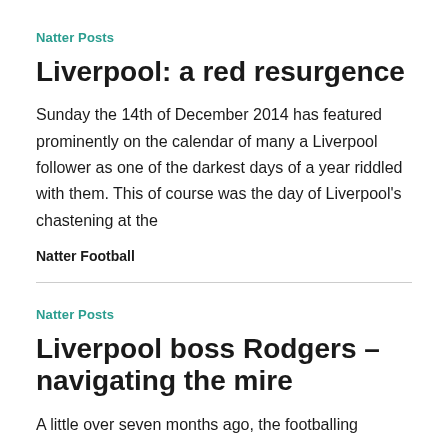Natter Posts
Liverpool: a red resurgence
Sunday the 14th of December 2014 has featured prominently on the calendar of many a Liverpool follower as one of the darkest days of a year riddled with them. This of course was the day of Liverpool's chastening at the
Natter Football
Natter Posts
Liverpool boss Rodgers – navigating the mire
A little over seven months ago, the footballing